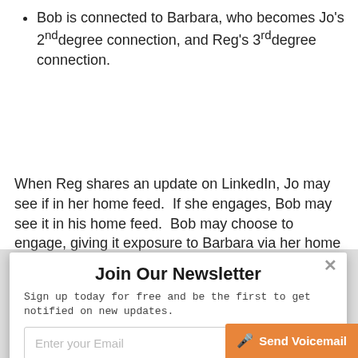Bob is connected to Barbara, who becomes Jo's 2nd degree connection, and Reg's 3rd degree connection.
When Reg shares an update on LinkedIn, Jo may see if in her home feed.  If she engages, Bob may see it in his home feed.  Bob may choose to engage, giving it exposure to Barbara via her home feed.  It is all
[Figure (other): Newsletter signup modal overlay with title 'Join Our Newsletter', subtitle text, email input field, Subscribe Now button, and Send Voicemail button]